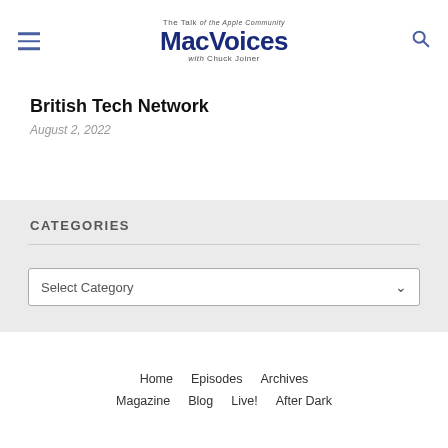The Talk of the Apple Community MacVoices with Chuck Joiner
British Tech Network
August 2, 2022
CATEGORIES
Select Category
Home  Episodes  Archives  Magazine  Blog  Live!  After Dark